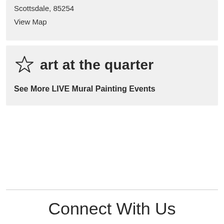Scottsdale, 85254
View Map
art at the quarter
See More LIVE Mural Painting Events
Connect With Us